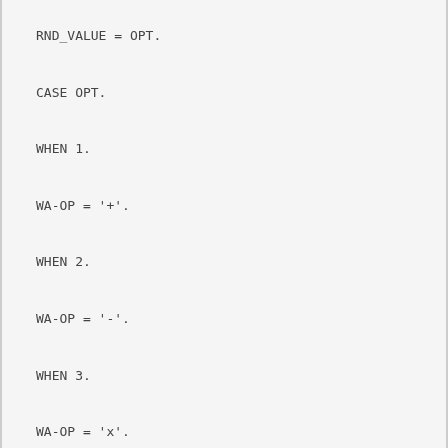RND_VALUE = OPT.

CASE OPT.

WHEN 1.

WA-OP = '+'.

WHEN 2.

WA-OP = '-'.

WHEN 3.

WA-OP = 'x'.

WHEN 4.

WA-OP = '/'.

ENDCASE.

WA-CH = '='.